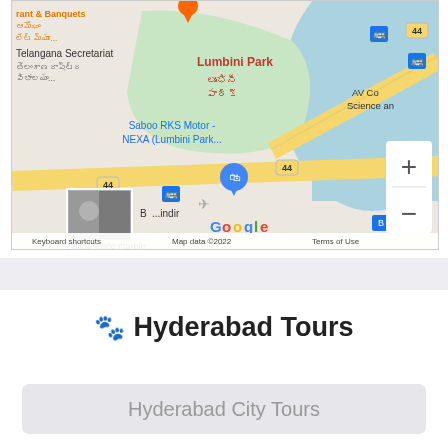[Figure (map): Google Maps screenshot showing Lumbini Park area in Hyderabad, India. Shows Telangana Secretariat, Lumbini Park (లుంభినీ పార్క్), Saboo RKS Motor - NEXA (Lumbini Park...), road number 44, AV College of Science, bus stops, a shopping pin marker, zoom controls (+/-), Google logo, keyboard shortcuts, map data ©2022, Terms of Use, and a hilltop white marble thumbnail image.]
Hilltop white marble
[Figure (other): Light gray separator/advertisement bar]
🐾 Hyderabad Tours
Hyderabad City Tours